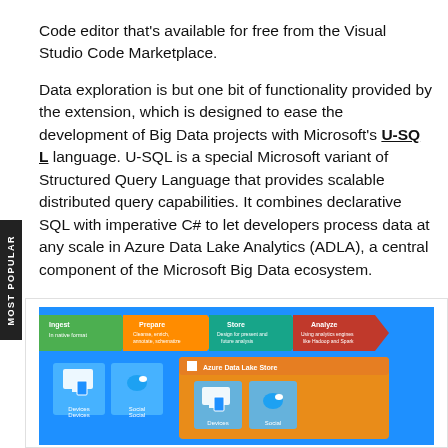Code editor that's available for free from the Visual Studio Code Marketplace.
Data exploration is but one bit of functionality provided by the extension, which is designed to ease the development of Big Data projects with Microsoft's U-SQL language. U-SQL is a special Microsoft variant of Structured Query Language that provides scalable distributed query capabilities. It combines declarative SQL with imperative C# to let developers process data at any scale in Azure Data Lake Analytics (ADLA), a central component of the Microsoft Big Data ecosystem.
[Figure (infographic): Azure Data Lake infographic showing pipeline stages: Ingest (in native format), Prepare (Cleanse, enrich, annotate, schematize), Store (Design for present and future analysis), Analyze (Using analytics engines like Hadoop and Spark). Below shows Devices and Social icons feeding into Azure Data Lake Store with Devices and Social icons inside.]